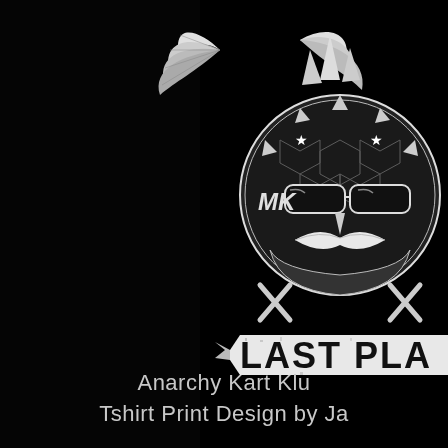[Figure (illustration): Black background with a partially visible Mario Kart-themed biker illustration in white/grey. Shows a spiky turtle shell character (Bowser-like) wearing sunglasses, with wings at the top, letter 'MK' text, crossbones, and a distressed ribbon banner reading 'LAST PLA' (text cut off at right edge). Style is reminiscent of a motorcycle club/Sons of Anarchy style logo.]
Anarchy Kart Klu
Tshirt Print Design by Ja